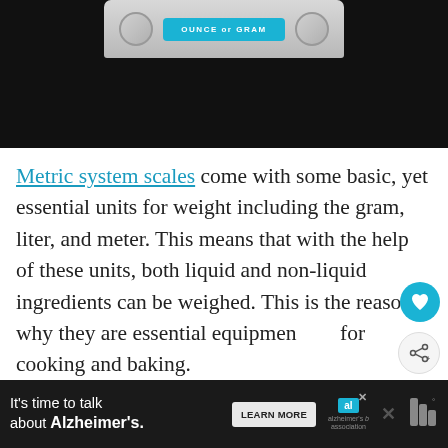[Figure (photo): A digital kitchen scale shown against a black background. The scale has a silver/grey body with round buttons on each side and a teal/blue display panel in the center.]
Metric system scales come with some basic, yet essential units for weight including the gram, liter, and meter. This means that with the help of these units, both liquid and non-liquid ingredients can be weighed. This is the reason why they are essential equipment for cooking and baking.
[Figure (other): Advertisement banner: 'It's time to talk about Alzheimer's.' with a LEARN MORE button and the Alzheimer's Association logo.]